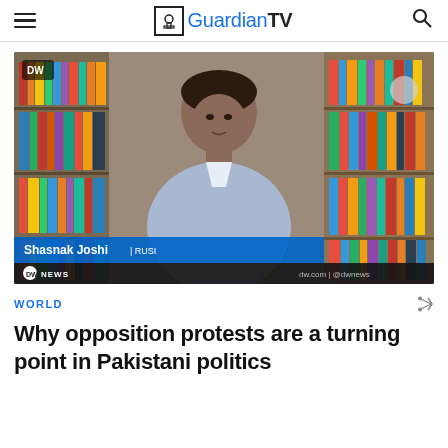GuardianTV
[Figure (screenshot): Video screenshot showing Shasnak Joshi from RUSI being interviewed on DW News, seated in front of a bookshelf. Lower bar shows name 'Shasnak Joshi | RUSI' on blue background, and DW NEWS branding with dw.com | @dwnews.]
WORLD
Why opposition protests are a turning point in Pakistani politics